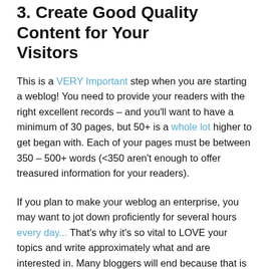3. Create Good Quality Content for Your Visitors
This is a VERY Important step when you are starting a weblog! You need to provide your readers with the right excellent records – and you'll want to have a minimum of 30 pages, but 50+ is a whole lot higher to get began with. Each of your pages must be between 350 – 500+ words (<350 aren't enough to offer treasured information for your readers).
If you plan to make your weblog an enterprise, you may want to jot down proficiently for several hours every day... That's why it's so vital to LOVE your topics and write approximately what and are interested in. Many bloggers will end because that is work, and it is an enterprise! This requires determination, similar to starting another commercial enterprise.